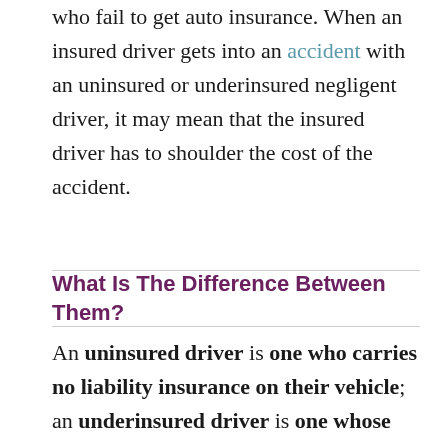who fail to get auto insurance. When an insured driver gets into an accident with an uninsured or underinsured negligent driver, it may mean that the insured driver has to shoulder the cost of the accident.
What Is The Difference Between Them?
An uninsured driver is one who carries no liability insurance on their vehicle; an underinsured driver is one whose